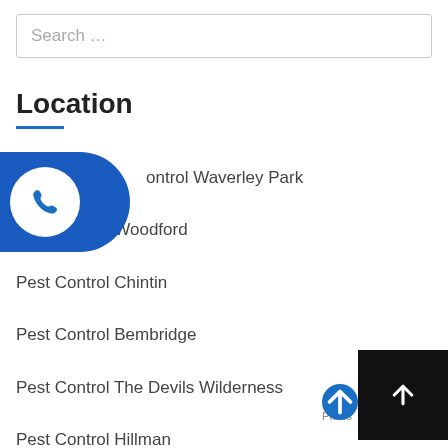Search …
Location
Pest Control Waverley Park
Pest Control Woodford
Pest Control Chintin
Pest Control Bembridge
Pest Control The Devils Wilderness
Pest Control Hillman
Pest Control Mount Mac…